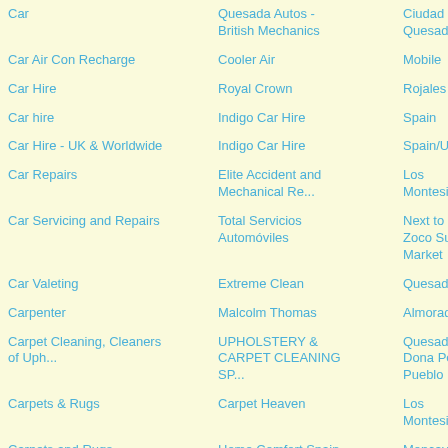| Category | Business | Location |
| --- | --- | --- |
| Car | Quesada Autos - British Mechanics | Ciudad Quesada |
| Car Air Con Recharge | Cooler Air | Mobile |
| Car Hire | Royal Crown | Rojales |
| Car hire | Indigo Car Hire | Spain |
| Car Hire - UK & Worldwide | Indigo Car Hire | Spain/U.K |
| Car Repairs | Elite Accident and Mechanical Re... | Los Montesinos |
| Car Servicing and Repairs | Total Servicios Automóviles | Next to Zoco Sund Market |
| Car Valeting | Extreme Clean | Quesada |
| Carpenter | Malcolm Thomas | Almoradi |
| Carpet Cleaning, Cleaners of Uph... | UPHOLSTERY & CARPET CLEANING SP... | Quesada, Dona Pe Pueblo ... |
| Carpets & Rugs | Carpet Heaven | Los Montesinos |
| Carpets and Rugs | Home Comfort Spain | Moncayo Market, A Moncay... |
| Cash for Clothes | Smart Recycling | Costa Blanca |